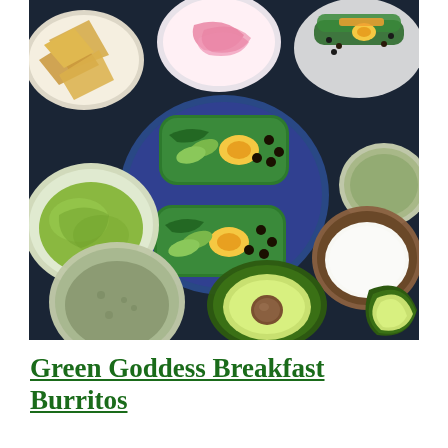[Figure (photo): Overhead flat-lay photo of Green Goddess Breakfast Burritos on a dark blue surface. Center: two green-wrapped burritos cut in half on a blue plate, showing egg yolk, avocado slices, black beans, and greens. Surrounding bowls contain: guacamole (left), green salsa/tomatillo sauce (bottom left and top right), pickled red onions (top center), chips/tortillas (top left), sour cream (right), and a halved avocado with pit in the foreground.]
Green Goddess Breakfast Burritos